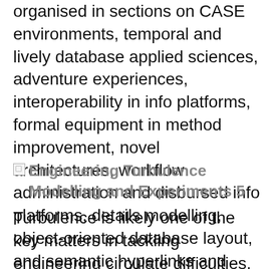organised in sections on CASE environments, temporal and lively database applied sciences, adventure experiences, interoperability in info platforms, formal equipment in method improvement, novel architectures, workflow administration and disbursed info platforms, details modelling, object-oriented database layout, and semantic hyperlinks and abstraction.
Engineering Turbulence Modelling and Experiments 5
Turbulence is likely one of the key matters in tackling engineering circulate difficulties. As strong desktops and actual numerical tools are actually to be had for fixing the move equations,